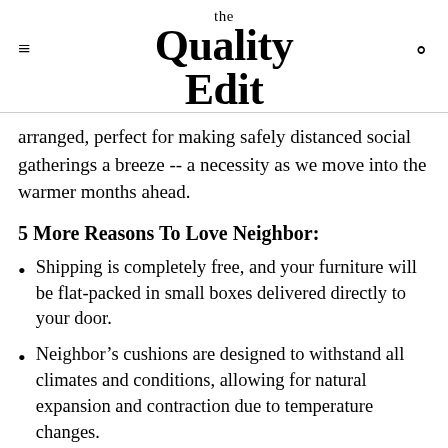the Quality Edit
arranged, perfect for making safely distanced social gatherings a breeze -- a necessity as we move into the warmer months ahead.
5 More Reasons To Love Neighbor:
Shipping is completely free, and your furniture will be flat-packed in small boxes delivered directly to your door.
Neighbor’s cushions are designed to withstand all climates and conditions, allowing for natural expansion and contraction due to temperature changes.
The cushion covers are removable and washable,